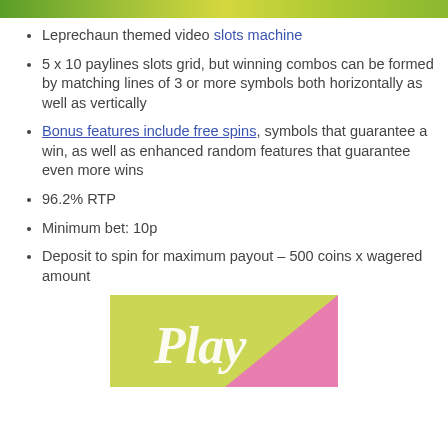[Figure (photo): Top banner image with green/yellow leprechaun themed background (partial, cropped at top)]
Leprechaun themed video slots machine
5 x 10 paylines slots grid, but winning combos can be formed by matching lines of 3 or more symbols both horizontally as well as vertically
Bonus features include free spins, symbols that guarantee a win, as well as enhanced random features that guarantee even more wins
96.2% RTP
Minimum bet: 10p
Deposit to spin for maximum payout – 500 coins x wagered amount
[Figure (illustration): Play button banner with yellow-green and pink diagonal background with cursive 'Play' text in white]